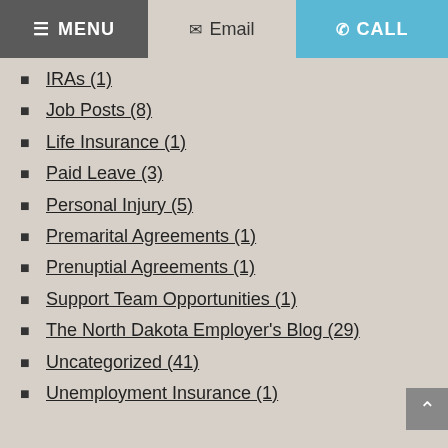MENU | Email | CALL
IRAs (1)
Job Posts (8)
Life Insurance (1)
Paid Leave (3)
Personal Injury (5)
Premarital Agreements (1)
Prenuptial Agreements (1)
Support Team Opportunities (1)
The North Dakota Employer's Blog (29)
Uncategorized (41)
Unemployment Insurance (1)